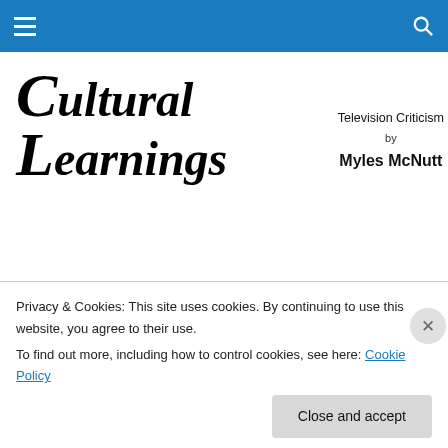Cultural Learnings — navigation bar
[Figure (logo): Cultural Learnings blog logo in italic script font]
Television Criticism by Myles McNutt
TAGGED WITH SURPRISES
2009 Emmy Nominations
Privacy & Cookies: This site uses cookies. By continuing to use this website, you agree to their use.
To find out more, including how to control cookies, see here: Cookie Policy